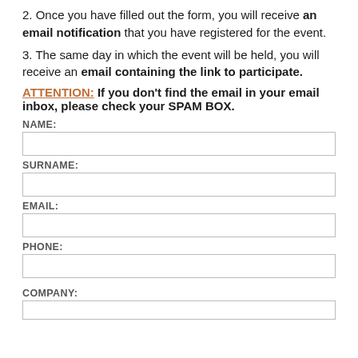2. Once you have filled out the form, you will receive an email notification that you have registered for the event.
3. The same day in which the event will be held, you will receive an email containing the link to participate.
ATTENTION: If you don’t find the email in your email inbox, please check your SPAM BOX.
NAME:
SURNAME:
EMAIL:
PHONE:
COMPANY: